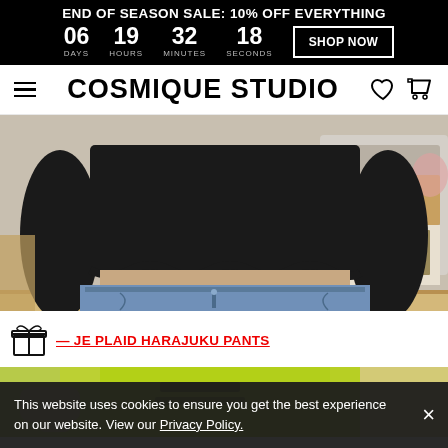END OF SEASON SALE: 10% OFF EVERYTHING | 06 DAYS 19 HOURS 32 MINUTES 18 SECONDS | SHOP NOW
COSMIQUE STUDIO
[Figure (photo): Person wearing a black cropped sweater and light blue jeans, photographed in a room with a couch and books visible in the background.]
JE PLAID HARAJUKU PANTS
[Figure (photo): Person wearing a neon yellow/green top, partially visible.]
This website uses cookies to ensure you get the best experience on our website. View our Privacy Policy.